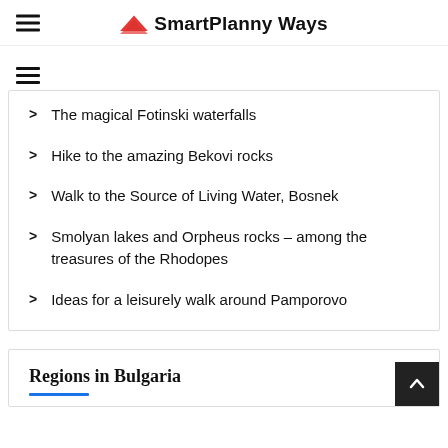SmartPlanny Ways
The magical Fotinski waterfalls
Hike to the amazing Bekovi rocks
Walk to the Source of Living Water, Bosnek
Smolyan lakes and Orpheus rocks – among the treasures of the Rhodopes
Ideas for a leisurely walk around Pamporovo
Regions in Bulgaria